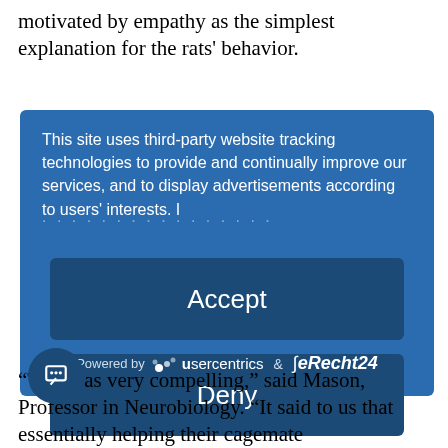motivated by empathy as the simplest explanation for the rats' behavior.
[Figure (screenshot): Cookie consent overlay with blue background showing 'Accept' and 'Deny' buttons, 'more' link, and 'Powered by usercentrics & eRecht24' footer. Text: 'This site uses third-party website tracking technologies to provide and continually improve our services, and to display advertisements according to users' interests. I']
“T[icon]as very compelling,” said Mason, Professor in Neurobiology. “It said to us that essentially helping their cagemate